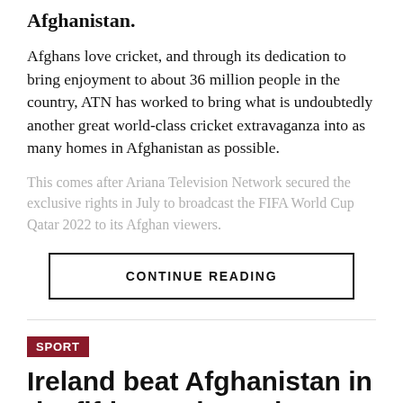Afghanistan.
Afghans love cricket, and through its dedication to bring enjoyment to about 36 million people in the country, ATN has worked to bring what is undoubtedly another great world-class cricket extravaganza into as many homes in Afghanistan as possible.
This comes after Ariana Television Network secured the exclusive rights in July to broadcast the FIFA World Cup Qatar 2022 to its Afghan viewers.
CONTINUE READING
SPORT
Ireland beat Afghanistan in the fifth match to win 3-2